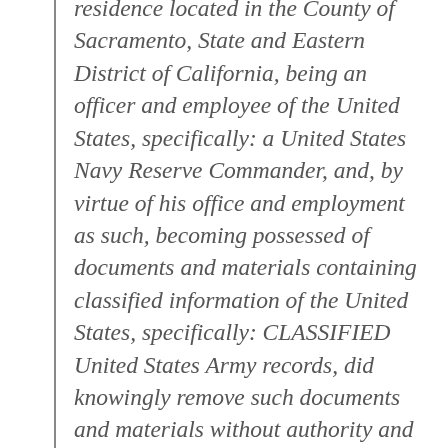residence located in the County of Sacramento, State and Eastern District of California, being an officer and employee of the United States, specifically: a United States Navy Reserve Commander, and, by virtue of his office and employment as such, becoming possessed of documents and materials containing classified information of the United States, specifically: CLASSIFIED United States Army records, did knowingly remove such documents and materials without authority and with the intent to retain such documents and materials at his residence in the County of Sacramento, an unauthorized location, in